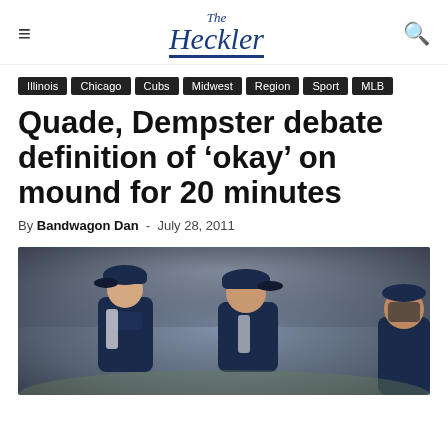The Heckler
Illinois
Chicago
Cubs
Midwest
Region
Sport
MLB
Quade, Dempster debate definition of ‘okay’ on mound for 20 minutes
By Bandwagon Dan - July 28, 2011
[Figure (photo): Two baseball players in Chicago Cubs navy blue uniforms and caps having a mound conference, a pitcher and a manager or catcher facing each other in close discussion, with a crowd blurred in the background.]